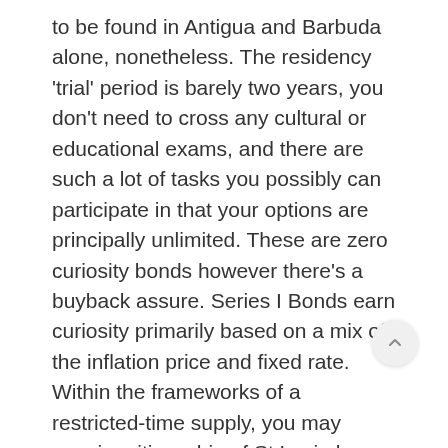to be found in Antigua and Barbuda alone, nonetheless. The residency 'trial' period is barely two years, you don't need to cross any cultural or educational exams, and there are such a lot of tasks you possibly can participate in that your options are principally unlimited. These are zero curiosity bonds however there's a buyback assure. Series I Bonds earn curiosity primarily based on a mix of the inflation price and fixed rate. Within the frameworks of a restricted-time supply, you may acquire citizenship of St Lucia by investing into Government bonds at a 50% discount. 500,000 (twice as little till the end of 2020) into Government bonds and hold them in your possession for 5 years thus acquiring the passport of St Lucia.